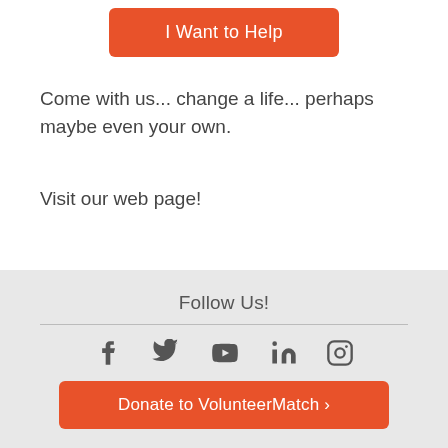I Want to Help
Come with us... change a life... perhaps maybe even your own.
Visit our web page!
Follow Us!
[Figure (infographic): Social media icons: Facebook, Twitter, YouTube, LinkedIn, Instagram]
Donate to VolunteerMatch ›